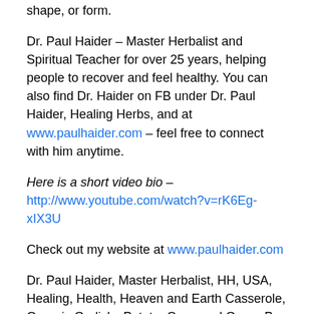shape, or form.
Dr. Paul Haider – Master Herbalist and Spiritual Teacher for over 25 years, helping people to recover and feel healthy. You can also find Dr. Haider on FB under Dr. Paul Haider, Healing Herbs, and at www.paulhaider.com – feel free to connect with him anytime.
Here is a short video bio – http://www.youtube.com/watch?v=rK6Eg-xIX3U
Check out my website at www.paulhaider.com
Dr. Paul Haider, Master Herbalist, HH, USA, Healing, Health, Heaven and Earth Casserole, Organic Garlicky Potato, Corn, and Green Pea Casserole, potatoes or any other root veggie, ripe plantains, Ripe Organic Plantains, Organic Potatoes, Organic Name', Organic Roots, Organic